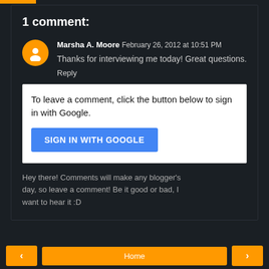1 comment:
Marsha A. Moore  February 26, 2012 at 10:51 PM
Thanks for interviewing me today! Great questions.
Reply
To leave a comment, click the button below to sign in with Google.
SIGN IN WITH GOOGLE
Hey there! Comments will make any blogger's day, so leave a comment! Be it good or bad, I want to hear it :D
< Home >